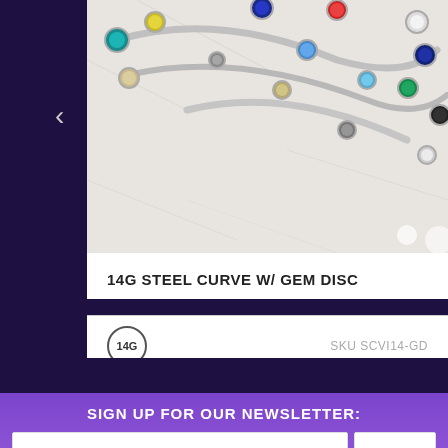[Figure (photo): Product photo of 14G steel curved belly button rings with colorful gem discs in teal, yellow, blue, green, and other colors arranged on a marble surface]
14G STEEL CURVE W/ GEM DISC
14G
SKU SCVI14-GD
SIGN UP FOR OUR NEWSLETTER: